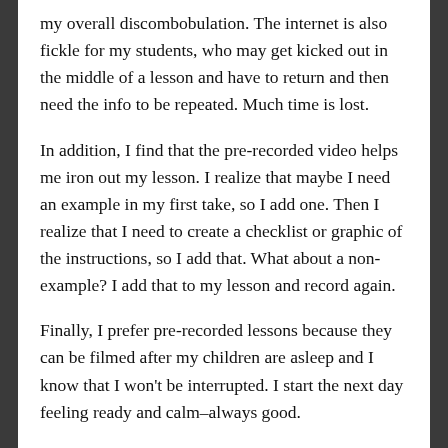my overall discombobulation. The internet is also fickle for my students, who may get kicked out in the middle of a lesson and have to return and then need the info to be repeated. Much time is lost.
In addition, I find that the pre-recorded video helps me iron out my lesson. I realize that maybe I need an example in my first take, so I add one. Then I realize that I need to create a checklist or graphic of the instructions, so I add that. What about a non-example? I add that to my lesson and record again.
Finally, I prefer pre-recorded lessons because they can be filmed after my children are asleep and I know that I won't be interrupted. I start the next day feeling ready and calm–always good.
Curious about these video minilessons? I use